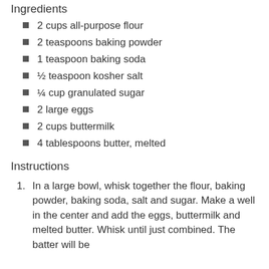Ingredients
2 cups all-purpose flour
2 teaspoons baking powder
1 teaspoon baking soda
½ teaspoon kosher salt
¼ cup granulated sugar
2 large eggs
2 cups buttermilk
4 tablespoons butter, melted
Instructions
In a large bowl, whisk together the flour, baking powder, baking soda, salt and sugar. Make a well in the center and add the eggs, buttermilk and melted butter. Whisk until just combined. The batter will be